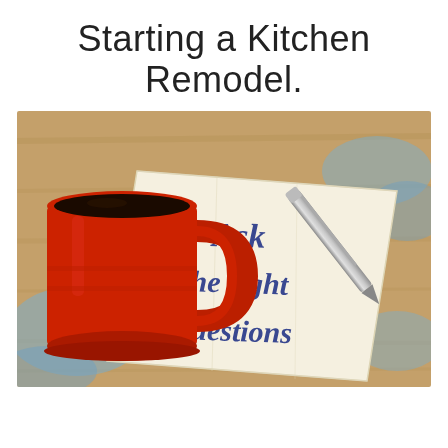Starting a Kitchen Remodel.
[Figure (photo): A red coffee mug filled with black coffee sits on a wooden table next to a folded napkin with 'Ask the right questions' written on it in blue ink, with a silver pen resting diagonally across the napkin.]